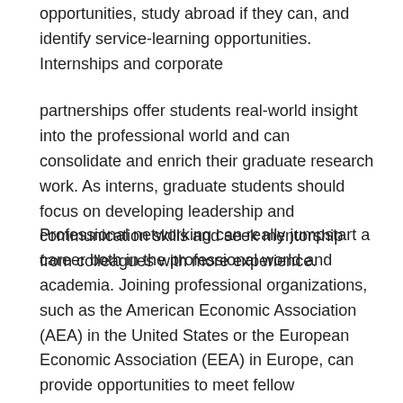opportunities, study abroad if they can, and identify service-learning opportunities. Internships and corporate
partnerships offer students real-world insight into the professional world and can consolidate and enrich their graduate research work. As interns, graduate students should focus on developing leadership and communication skills and seek mentorship from colleagues with more experience.
Professional networking can really jumpstart a career both in the professional world and academia. Joining professional organizations, such as the American Economic Association (AEA) in the United States or the European Economic Association (EEA) in Europe, can provide opportunities to meet fellow economists to read, write, and review research papers, while also making contact with professionals in a specific career field or even learning of available job opportunities. Professional networking associations and academic